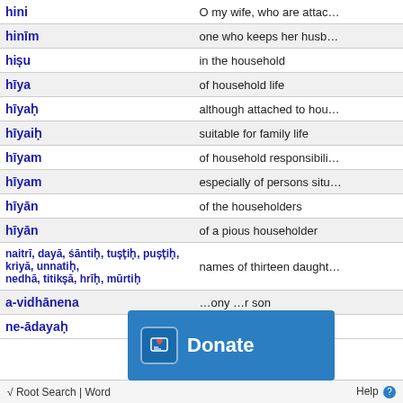| Term | Definition |
| --- | --- |
| hini | O my wife, who are attac… |
| hinīm | one who keeps her husb… |
| hiṣu | in the household |
| hīya | of household life |
| hīyaḥ | although attached to hou… |
| hīyaiḥ | suitable for family life |
| hīyam | of household responsibili… |
| hīyam | especially of persons situ… |
| hīyān | of the householders |
| hīyān | of a pious householder |
| naitrī, dayā, śāntiḥ, tuṣṭiḥ, puṣṭiḥ, kriyā, unnatiḥ, nedhā, titikṣā, hrīḥ, mūrtiḥ | names of thirteen daught… |
| a-vidhānena | …ony …r son |
| ne-ādayaḥ | headed by Priyamedha… |
[Figure (other): Donate button overlay with icon and text 'Donate' in blue]
√ Root Search | Word    Help